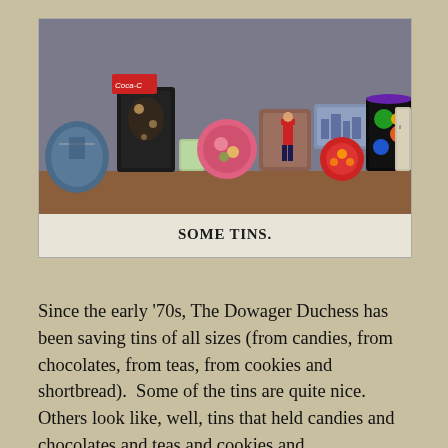[Figure (photo): A photograph of a wooden shelf holding a collection of decorative tins of various sizes, shapes, and designs including Coca-Cola tin, Asian-themed tins, floral tins, a soldier tin, and other collectible tins.]
SOME TINS.
Since the early '70s, The Dowager Duchess has been saving tins of all sizes (from candies, from chocolates, from teas, from cookies and shortbread).  Some of the tins are quite nice.  Others look like, well, tins that held candies and chocolates and teas and cookies and shortbread.